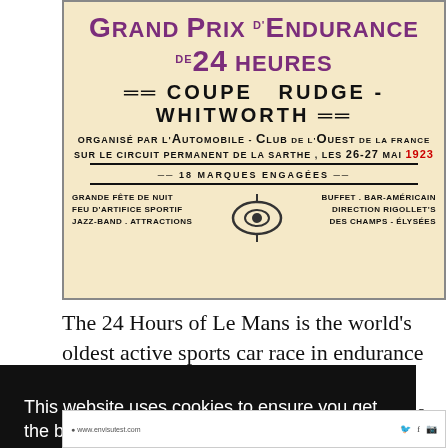[Figure (illustration): Vintage 1923 Le Mans race poster: Grand Prix d'Endurance de 24 Heures, Coupe Rudge-Whitworth, organised by Automobile-Club de l'Ouest de la France, sur le circuit permanent de la Sarthe, les 26-27 Mai 1923, 18 marques engagées. Features event amenities and a central emblem.]
The 24 Hours of Le Mans is the world's oldest active sports car race in endurance racing and has been held annually since 1923 near the town of Le Mans in France. One of the most prestigious races in...
This website uses cookies to ensure you get the best experience on our website. Learn more
Got it!